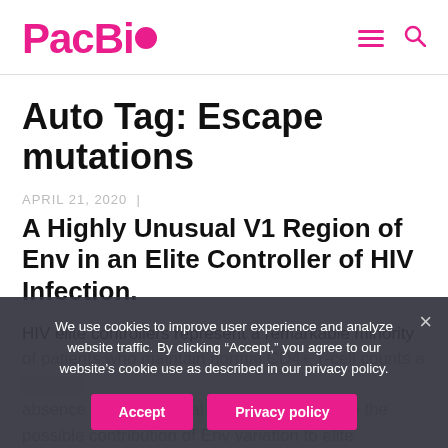PacBio
Auto Tag: Escape mutations
APRIL 21, 2020  |
A Highly Unusual V1 Region of Env in an Elite Controller of HIV Infection.
HIV elite controllers represent a remarkable minority of patients who maintain normal CD4+ T-cell counts and undetectable viral loads in the absence of antiretroviral therapy. To examine the possible contribution of Env variation to elite
We use cookies to improve user experience and analyze website traffic. By clicking “Accept,” you agree to our website’s cookie use as described in our privacy policy.